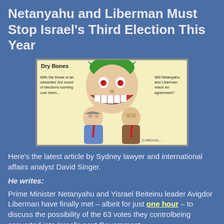Netanyahu and Liberman Must Stop Israel's Third Election This Year
[Figure (illustration): Dry Bones editorial cartoon showing two politicians (Netanyahu and Liberman) standing back to back with a large Joker-like figure looming behind them. Left caption: 'With the threat of an unwanted 3rd round of elections looming over them...' Right caption: 'Will Netanyahu and Liberman reach an agreement?']
Here's the latest article by Sydney lawyer and international affairs analyst David Singer.
He writes:
Prime Minister Netanyahu and Yisrael Beiteinu leader Avigdor Liberman have finally met – albeit for just one hour – to discuss the possibility of the 63 votes they controlbeing converted into Israel's next Government.